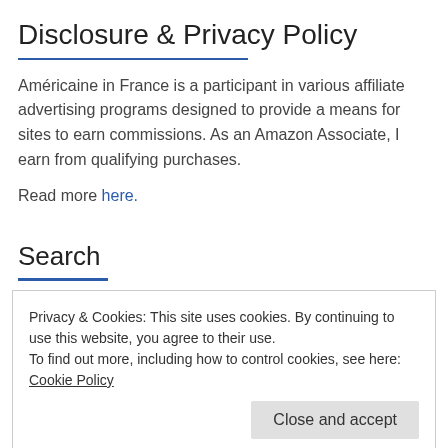Disclosure & Privacy Policy
Américaine in France is a participant in various affiliate advertising programs designed to provide a means for sites to earn commissions. As an Amazon Associate, I earn from qualifying purchases.
Read more here.
Search
Privacy & Cookies: This site uses cookies. By continuing to use this website, you agree to their use.
To find out more, including how to control cookies, see here: Cookie Policy
Close and accept
Disclosure & Privacy Policy